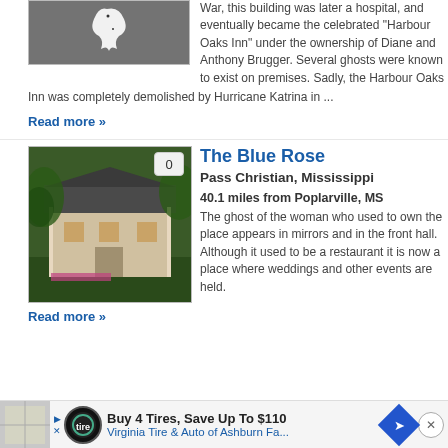[Figure (photo): Grayscale image of a ghost-like white shape on dark background]
War, this building was later a hospital, and eventually became the celebrated "Harbour Oaks Inn" under the ownership of Diane and Anthony Brugger. Several ghosts were known to exist on premises. Sadly, the Harbour Oaks Inn was completely demolished by Hurricane Katrina in ...
Read more »
[Figure (photo): Photograph of a white house with porch surrounded by palm trees and a green lawn]
The Blue Rose
Pass Christian, Mississippi
40.1 miles from Poplarville, MS
The ghost of the woman who used to own the place appears in mirrors and in the front hall. Although it used to be a restaurant it is now a place where weddings and other events are held.
Read more »
Buy 4 Tires, Save Up To $110 Virginia Tire & Auto of Ashburn Fa...